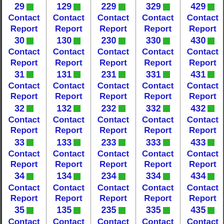| Col1 | Col2 | Col3 | Col4 | Col5 |
| --- | --- | --- | --- | --- |
| 29 ■ Contact Report | 129 ■ Contact Report | 229 ■ Contact Report | 329 ■ Contact Report | 429 ■ Contact Report |
| 30 ■ Contact Report | 130 ■ Contact Report | 230 ■ Contact Report | 330 ■ Contact Report | 430 ■ Contact Report |
| 31 ■ Contact Report | 131 ■ Contact Report | 231 ■ Contact Report | 331 ■ Contact Report | 431 ■ Contact Report |
| 32 ■ Contact Report | 132 ■ Contact Report | 232 ■ Contact Report | 332 ■ Contact Report | 432 ■ Contact Report |
| 33 ■ Contact Report | 133 ■ Contact Report | 233 ■ Contact Report | 333 ■ Contact Report | 433 ■ Contact Report |
| 34 ■ Contact Report | 134 ■ Contact Report | 234 ■ Contact Report | 334 ■ Contact Report | 434 ■ Contact Report |
| 35 ■ Contact | 135 ■ Contact | 235 ■ Contact | 335 ■ Contact | 435 ■ Contact |